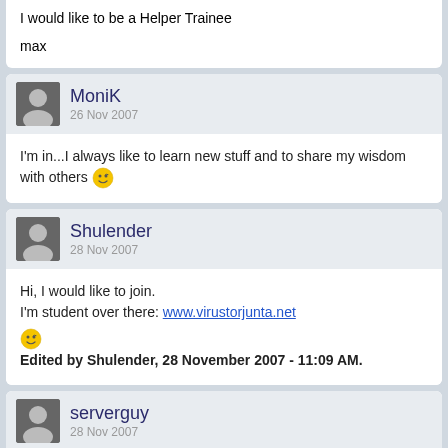I would like to be a Helper Trainee

max
MoniK
26 Nov 2007
I'm in...I always like to learn new stuff and to share my wisdom with others
Shulender
28 Nov 2007
Hi, I would like to join.
I'm student over there: www.virustorjunta.net
Edited by Shulender, 28 November 2007 - 11:09 AM.
serverguy
28 Nov 2007
Hi